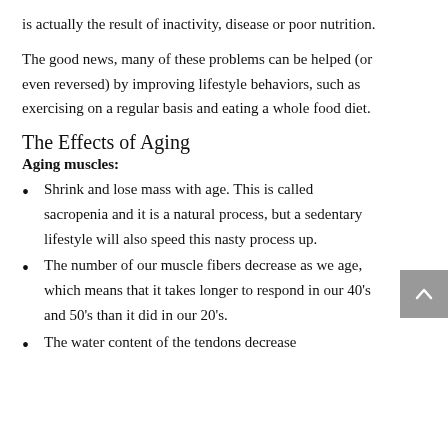is actually the result of inactivity, disease or poor nutrition.
The good news, many of these problems can be helped (or even reversed) by improving lifestyle behaviors, such as exercising on a regular basis and eating a whole food diet.
The Effects of Aging
Aging muscles:
Shrink and lose mass with age. This is called sacropenia and it is a natural process, but a sedentary lifestyle will also speed this nasty process up.
The number of our muscle fibers decrease as we age, which means that it takes longer to respond in our 40's and 50's than it did in our 20's.
The water content of the tendons decrease